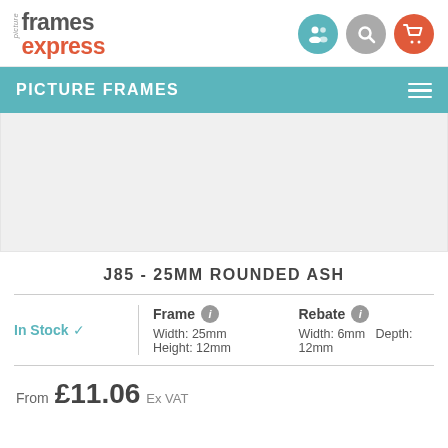picture frames express
PICTURE FRAMES
[Figure (photo): Product image area for J85 - 25MM ROUNDED ASH picture frame (blank/placeholder)]
J85 - 25MM ROUNDED ASH
In Stock ✓  Frame Width: 25mm Height: 12mm  Rebate Width: 6mm Depth: 12mm
From £11.06 Ex VAT